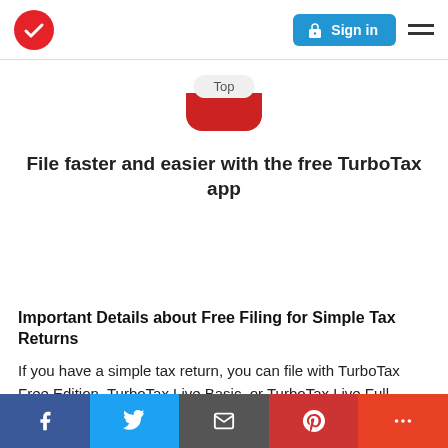[Figure (logo): TurboTax logo: red circle with white checkmark]
[Figure (screenshot): Sign in button (blue rounded rectangle with lock icon) and hamburger menu icon]
[Figure (illustration): TurboTax app icon showing 'Top' label and red rounded shape]
File faster and easier with the free TurboTax app
Important Details about Free Filing for Simple Tax Returns
If you have a simple tax return, you can file with TurboTax Free Edition, TurboTax Live Basic, or TurboTax Live Full Service
Social share bar: Facebook, Twitter, Email, Pinterest, More